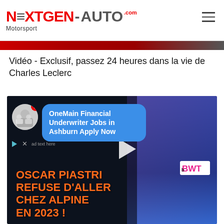[Figure (logo): NextGen-Auto.com Motorsport logo with red and grey text]
Vidéo - Exclusif, passez 24 heures dans la vie de Charles Leclerc
[Figure (screenshot): Video thumbnail showing Oscar Piastri refuse d'aller chez Alpine en 2023! with an ad overlay for OneMain Financial Underwriter Jobs in Ashburn Apply Now, and a racing driver in BWT suit on the right]